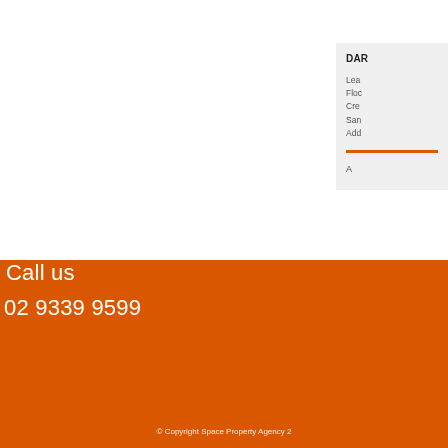DAR
Lease
Floc
Crea
San
Add
A
Call us
02 9339 9599
© Copyright Space Property Agency 2